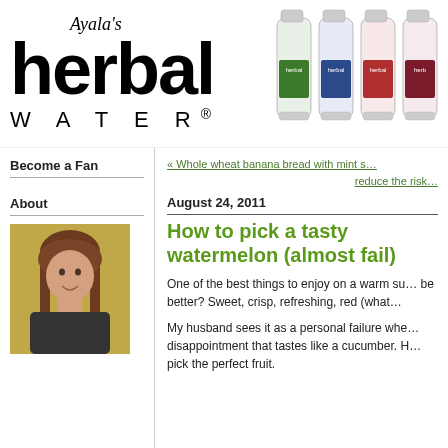[Figure (logo): Ayala's herbal WATER® logo in black text]
[Figure (photo): Four herbal water bottles with colored labels (green, blue, red, dark red) arranged in a row]
Become a Fan
About
[Figure (photo): Portrait photo of a woman with long brown hair smiling, outdoors background]
« Whole wheat banana bread with mint s…
reduce the risk…
August 24, 2011
How to pick a tasty watermelon (almost fail)
One of the best things to enjoy on a warm su… be better? Sweet, crisp, refreshing, red (what…
My husband sees it as a personal failure whe… disappointment that tastes like a cucumber. H… pick the perfect fruit.